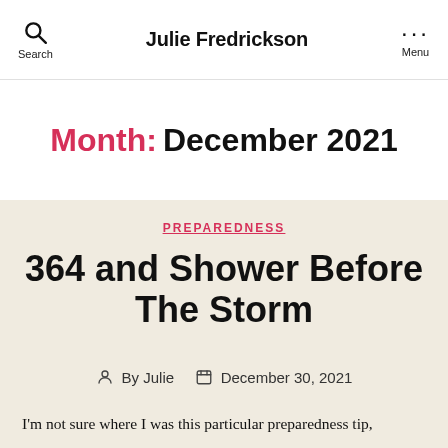Julie Fredrickson
Month: December 2021
PREPAREDNESS
364 and Shower Before The Storm
By Julie   December 30, 2021
I'm not sure where I was this particular preparedness tip,